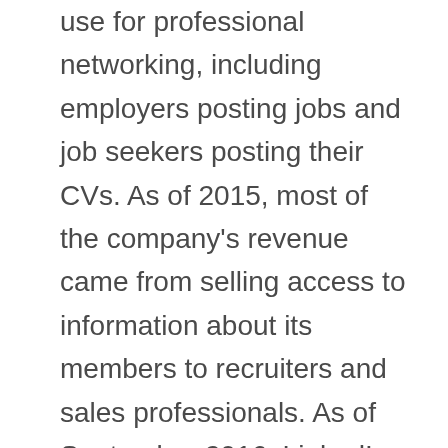use for professional networking, including employers posting jobs and job seekers posting their CVs. As of 2015, most of the company's revenue came from selling access to information about its members to recruiters and sales professionals. As of September 2016, LinkedIn had more than 467 million accounts, out of which more than 106 million are active. As of April 2017, LinkedIn had 500 million members in 200 countries. LinkedIn allows members to create profiles and "connections" to each other in an online social network which may represent real-world professional relationships. Members can invite anyone to become a connection. The "gated-access approach" is intended to build trust among the service's members. LinkedIn participated in the EU's International Safe Harbor Privacy Principles.